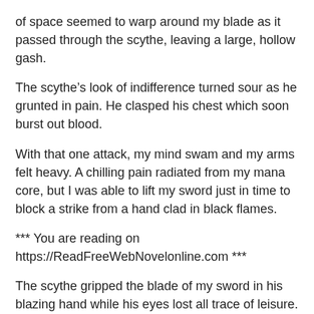of space seemed to warp around my blade as it passed through the scythe, leaving a large, hollow gash.
The scythe’s look of indifference turned sour as he grunted in pain. He clasped his chest which soon burst out blood.
With that one attack, my mind swam and my arms felt heavy. A chilling pain radiated from my mana core, but I was able to lift my sword just in time to block a strike from a hand clad in black flames.
*** You are reading on https://ReadFreeWebNovelonline.com ***
The scythe gripped the blade of my sword in his blazing hand while his eyes lost all trace of leisure.
I tried to pry my sword away from him to no avail. I didn’t have the strength to use aether again, and even if I did, I wasn’t confident that I could replicate what I had just done.